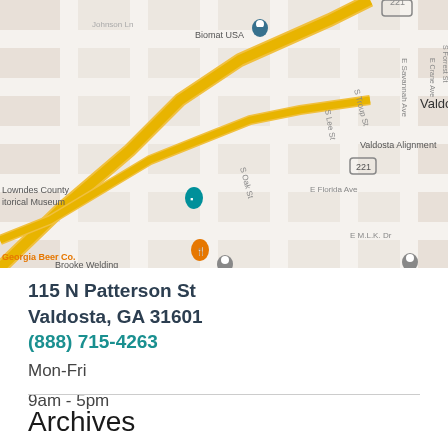[Figure (map): Google Maps view of Valdosta, GA area showing streets including S Oak St, E Savannah Ave, E Florida Ave, E M.L.K. Dr, S Lee St, E Crane Ave, S Troup St, Forrest St, Johnson Ln. Notable landmarks: Biomat USA, Valdosta label, Church's Texas Chicken, Valdosta Alignment, Lowndes County Historical Museum, Georgia Beer Co., Brooke Welding. Yellow highway route 221 visible running diagonally.]
115 N Patterson St
Valdosta, GA 31601
(888) 715-4263
Mon-Fri
9am - 5pm
Archives